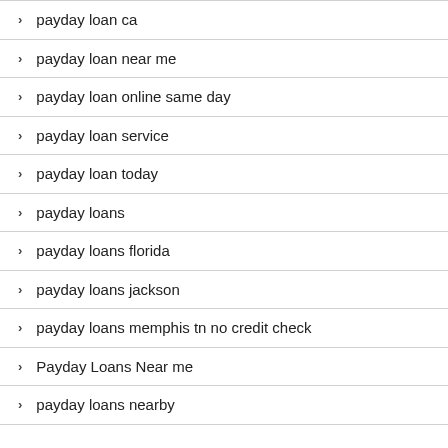payday loan ca
payday loan near me
payday loan online same day
payday loan service
payday loan today
payday loans
payday loans florida
payday loans jackson
payday loans memphis tn no credit check
Payday Loans Near me
payday loans nearby